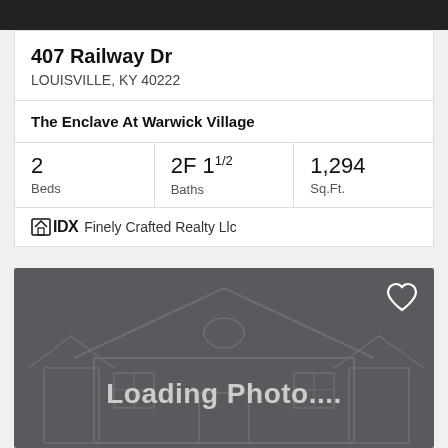407 Railway Dr
LOUISVILLE, KY 40222
The Enclave At Warwick Village
2 Beds | 2F 11/2 Baths | 1,294 Sq.Ft.
IDX Finely Crafted Realty Llc
[Figure (photo): Loading Photo placeholder with house outline illustration on dark gray background]